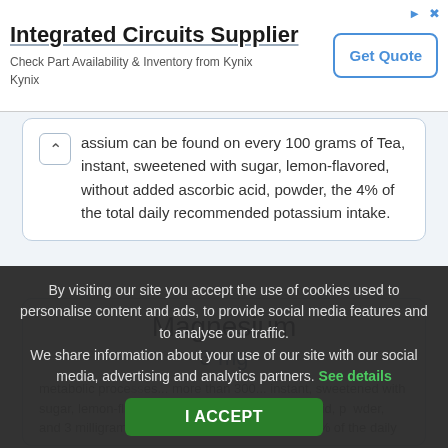[Figure (other): Advertisement banner for Integrated Circuits Supplier - Kynix, with Get Quote button]
assium can be found on every 100 grams of Tea, instant, sweetened with sugar, lemon-flavored, without added ascorbic acid, powder, the 4% of the total daily recommended potassium intake.
Magnesium
3 mg
metabolic processes... more than 300... instant, sweetened with sugar, lemon-flavored, without added ascorbic acid, powder, and 3 milligrams of magnesium. It provides the 1% of the daily recommended
By visiting our site you accept the use of cookies used to personalise content and ads, to provide social media features and to analyse our traffic. We share information about your use of our site with our social media, advertising and analytics partners. See details
I ACCEPT